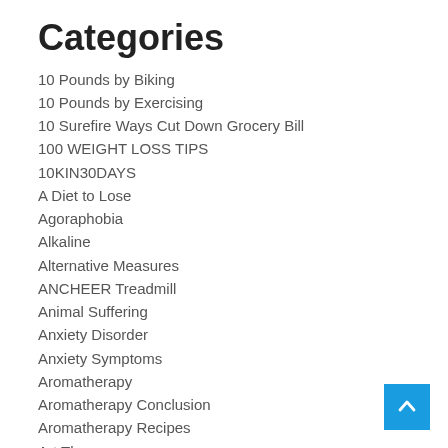Categories
10 Pounds by Biking
10 Pounds by Exercising
10 Surefire Ways Cut Down Grocery Bill
100 WEIGHT LOSS TIPS
10KIN30DAYS
A Diet to Lose
Agoraphobia
Alkaline
Alternative Measures
ANCHEER Treadmill
Animal Suffering
Anxiety Disorder
Anxiety Symptoms
Aromatherapy
Aromatherapy Conclusion
Aromatherapy Recipes
Art Therapy